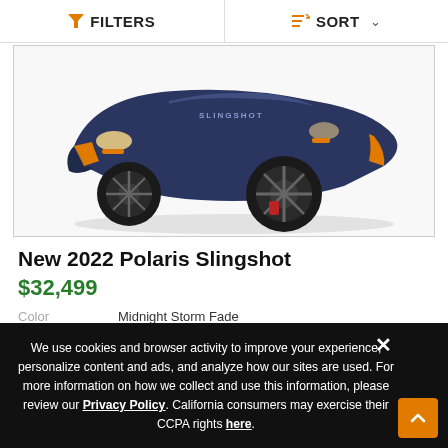FILTERS   SORT
[Figure (photo): Navy blue and orange Polaris Slingshot three-wheel vehicle, front three-quarter view on white background]
New 2022 Polaris Slingshot
$32,499
Color   Midnight Storm Fade
Engine   2.0L Prostar
We use cookies and browser activity to improve your experience, personalize content and ads, and analyze how our sites are used. For more information on how we collect and use this information, please review our Privacy Policy. California consumers may exercise their CCPA rights here.